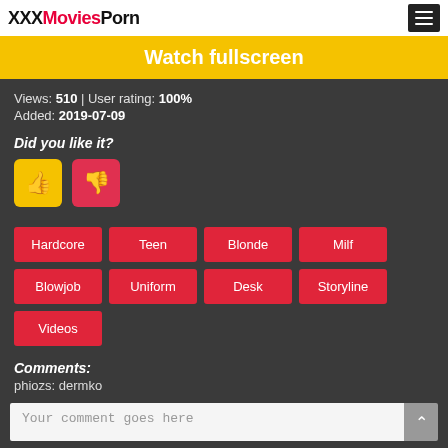XXXMoviesPorn
Watch fullscreen
Views: 510 | User rating: 100%
Added: 2019-07-09
Did you like it?
[Figure (other): Thumbs up (like) and thumbs down (dislike) buttons]
Hardcore
Teen
Blonde
Milf
Blowjob
Uniform
Desk
Storyline
Videos
Comments:
phiozs: dermko
Your comment goes here